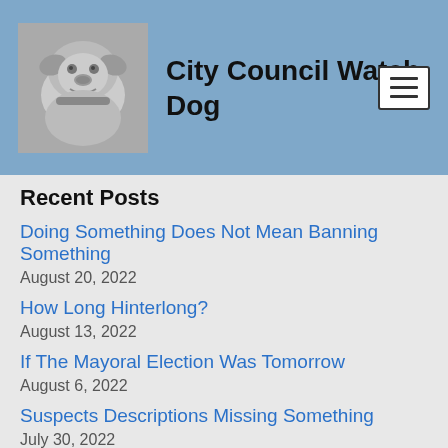[Figure (logo): City Council Watch Dog logo with bulldog graphic in grayscale]
City Council Watch Dog
Recent Posts
Doing Something Does Not Mean Banning Something
August 20, 2022
How Long Hinterlong?
August 13, 2022
If The Mayoral Election Was Tomorrow
August 6, 2022
Suspects Descriptions Missing Something
July 30, 2022
Say It Ain't So, Mayor
July 23, 2022